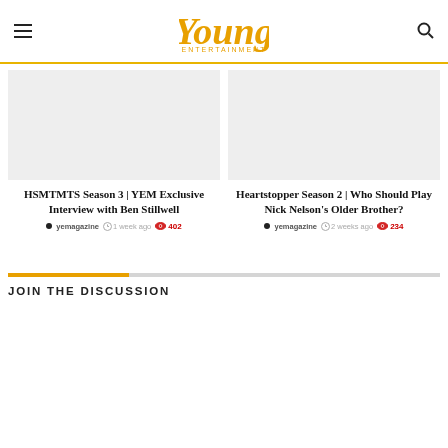Young Entertainment
HSMTMTS Season 3 | YEM Exclusive Interview with Ben Stillwell
yemagazine  1 week ago  402
Heartstopper Season 2 | Who Should Play Nick Nelson's Older Brother?
yemagazine  2 weeks ago  234
JOIN THE DISCUSSION